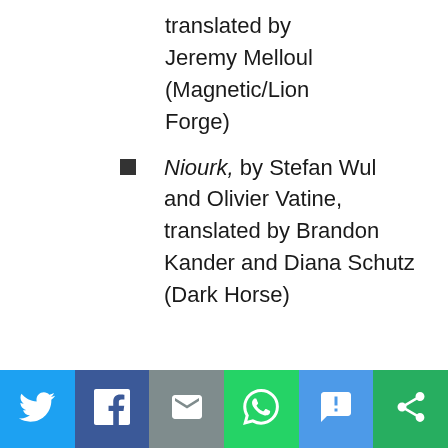translated by Jeremy Melloul (Magnetic/Lion Forge)
Niourk, by Stefan Wul and Olivier Vatine, translated by Brandon Kander and Diana Schutz (Dark Horse)